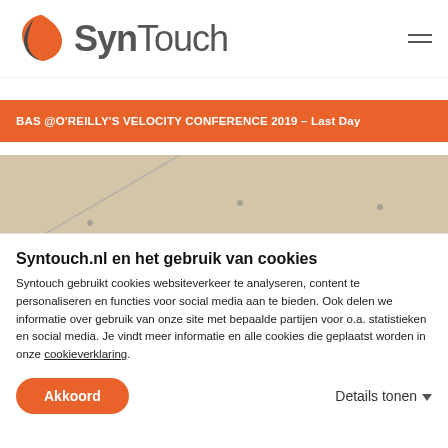SynTouch
BAS @O'REILLY'S VELOCITY CONFERENCE 2019 – Last Day
[Figure (photo): Interior photo showing a ceiling or large flat surface from below, warm tones]
Syntouch.nl en het gebruik van cookies
Syntouch gebruikt cookies websiteverkeer te analyseren, content te personaliseren en functies voor social media aan te bieden. Ook delen we informatie over gebruik van onze site met bepaalde partijen voor o.a. statistieken en social media. Je vindt meer informatie en alle cookies die geplaatst worden in onze cookieverklaring.
Akkoord
Details tonen